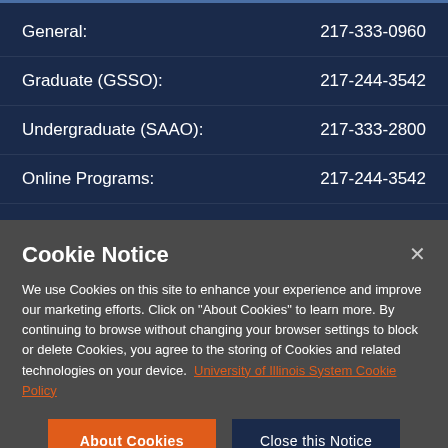General: 217-333-0960
Graduate (GSSO): 217-244-3542
Undergraduate (SAAO): 217-333-2800
Online Programs: 217-244-3542
Cookie Notice
We use Cookies on this site to enhance your experience and improve our marketing efforts. Click on "About Cookies" to learn more. By continuing to browse without changing your browser settings to block or delete Cookies, you agree to the storing of Cookies and related technologies on your device. University of Illinois System Cookie Policy
About Cookies | Close this Notice